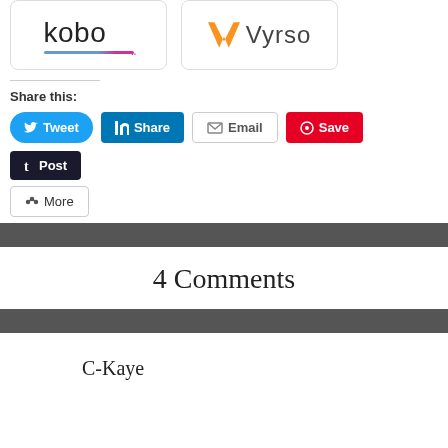[Figure (logo): Kobo logo with stylized underline]
[Figure (logo): Vyrso logo with orange V icon]
Share this:
[Figure (infographic): Social share buttons: Tweet, Share (LinkedIn), Email, Save (Pinterest), Post (Tumblr), More]
4 Comments
C-Kaye